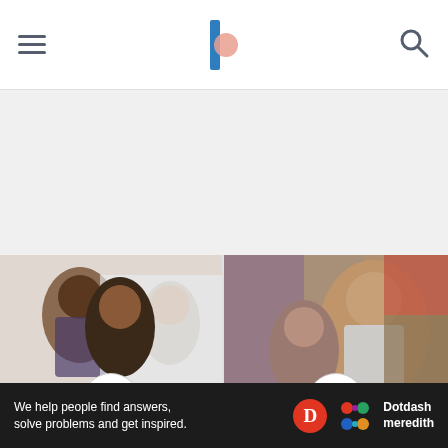Navigation bar with hamburger menu, logo, and search icon
[Figure (photo): Left card: professional meeting scene with people smiling]
SMALL BUSINESS
What Is Return on Investment (ROI) for
[Figure (photo): Right card: people in a retail/design setting looking at plans]
BUSINESS PLANS
How To Write a Marketing Stra...
We help people find answers, solve problems and get inspired. Dotdash meredith